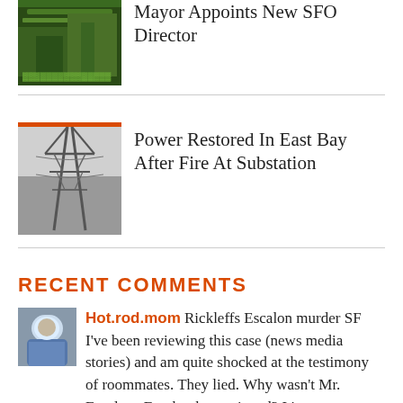[Figure (photo): Thumbnail image of green structure (airport/bridge) for Mayor Appoints New SFO Director article]
Mayor Appoints New SFO Director
[Figure (photo): Thumbnail image of power transmission tower in black and white for Power Restored In East Bay article]
Power Restored In East Bay After Fire At Substation
RECENT COMMENTS
[Figure (photo): Avatar photo of commenter Hot.rod.mom showing a person in blue shirt]
Hot.rod.mom Rickleffs Escalon murder SF I've been reviewing this case (news media stories) and am quite shocked at the testimony of roommates. They lied. Why wasn't Mr. Escalons Facebook mentioned? It's a...
DA Gascon To Gay Men: “Be very careful who you take home” · 1 day ago
[Figure (photo): Partial avatar image at bottom of page]